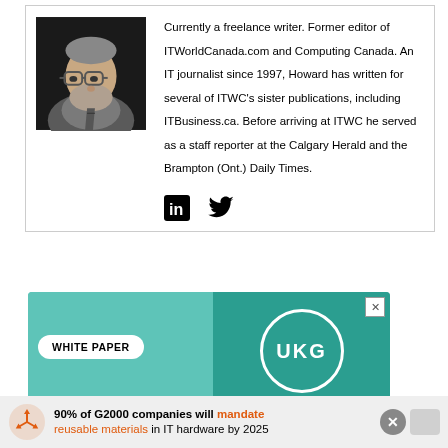[Figure (photo): Headshot photo of an older man with glasses and a beard, wearing a grey shirt and tie, against a dark background]
Currently a freelance writer. Former editor of ITWorldCanada.com and Computing Canada. An IT journalist since 1997, Howard has written for several of ITWC's sister publications, including ITBusiness.ca. Before arriving at ITWC he served as a staff reporter at the Calgary Herald and the Brampton (Ont.) Daily Times.
[Figure (infographic): LinkedIn and Twitter social media icons]
[Figure (infographic): UKG White Paper advertisement banner with teal background]
[Figure (infographic): Bottom advertisement bar: 90% of G2000 companies will mandate reusable materials in IT hardware by 2025]